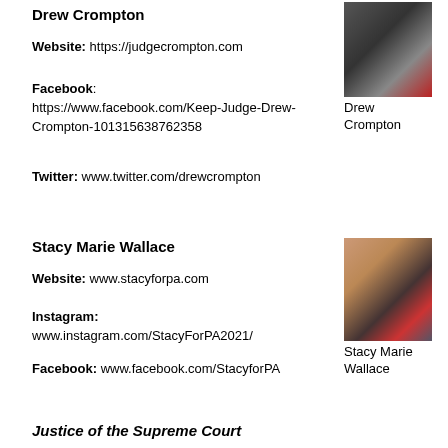Drew Crompton
Website: https://judgecrompton.com
Facebook: https://www.facebook.com/Keep-Judge-Drew-Crompton-101315638762358
Twitter: www.twitter.com/drewcrompton
[Figure (photo): Portrait photo of Drew Crompton in judicial robes with American flag in background]
Drew Crompton
Stacy Marie Wallace
Website: www.stacyforpa.com
Instagram: www.instagram.com/StacyForPA2021/
Facebook: www.facebook.com/StacyforPA
[Figure (photo): Portrait photo of Stacy Marie Wallace with American flag in background]
Stacy Marie Wallace
Justice of the Supreme Court